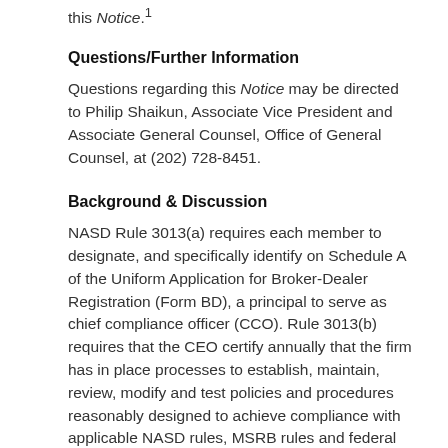this Notice.¹
Questions/Further Information
Questions regarding this Notice may be directed to Philip Shaikun, Associate Vice President and Associate General Counsel, Office of General Counsel, at (202) 728-8451.
Background & Discussion
NASD Rule 3013(a) requires each member to designate, and specifically identify on Schedule A of the Uniform Application for Broker-Dealer Registration (Form BD), a principal to serve as chief compliance officer (CCO). Rule 3013(b) requires that the CEO certify annually that the firm has in place processes to establish, maintain, review, modify and test policies and procedures reasonably designed to achieve compliance with applicable NASD rules, MSRB rules and federal securities laws and regulations.